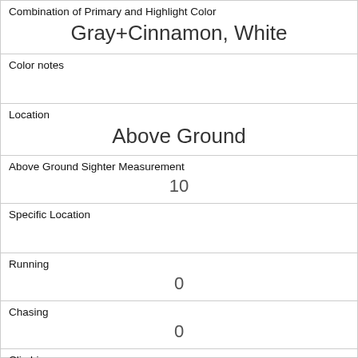| Combination of Primary and Highlight Color | Gray+Cinnamon, White |
| Color notes |  |
| Location | Above Ground |
| Above Ground Sighter Measurement | 10 |
| Specific Location |  |
| Running | 0 |
| Chasing | 0 |
| Climbing | 1 |
| Eating | 1 |
| Foraging | 0 |